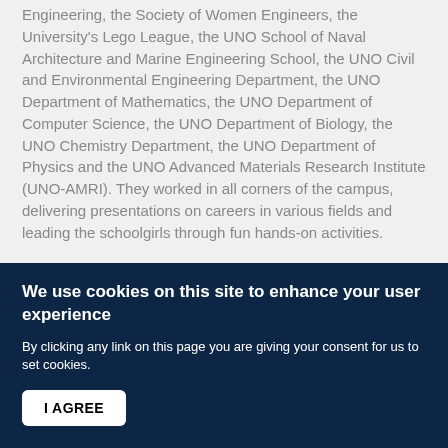Engineering, the Society of Women Engineers, the University's Lego League, the UNO School of Naval Architecture and Marine Engineering School, the UNO Civil and Environmental Engineering Department, the UNO Department of Mathematics, the UNO Department of Computer Science, the UNO Department of Biology, the UNO Chemistry Department, the UNO Department of Physics and the UNO Advanced Materials Research Institute (UNO-AMRI). They worked in all corners of the campus, delivering presentations on careers in various fields and leading the schoolgirls through fun hands-on activities.
The UNO Physics Department, UNO-AMRI and Louisiana Alliance for Minority Participation (LAMP) delivered five physical science presentations in the Science Building, said Kevin Stokes, physics professor and department chair.
"In our three teaching laboratories, we had presentations with
We use cookies on this site to enhance your user experience
By clicking any link on this page you are giving your consent for us to set cookies.
I AGREE